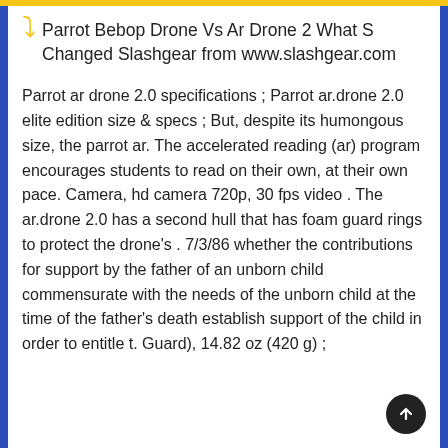Parrot Bebop Drone Vs Ar Drone 2 What S Changed Slashgear from www.slashgear.com
Parrot ar drone 2.0 specifications ; Parrot ar.drone 2.0 elite edition size & specs ; But, despite its humongous size, the parrot ar. The accelerated reading (ar) program encourages students to read on their own, at their own pace. Camera, hd camera 720p, 30 fps video . The ar.drone 2.0 has a second hull that has foam guard rings to protect the drone's . 7/3/86 whether the contributions for support by the father of an unborn child commensurate with the needs of the unborn child at the time of the father's death establish support of the child in order to entitle t. Guard), 14.82 oz (420 g) ;